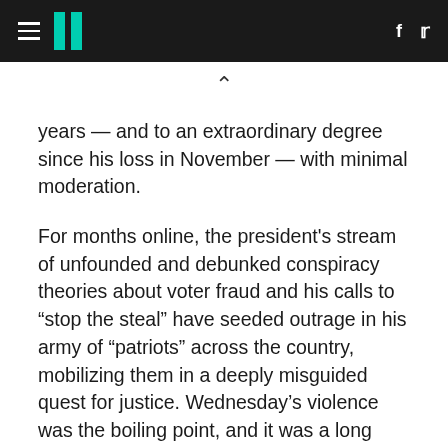HuffPost navigation header with hamburger menu, logo, Facebook and Twitter icons
years — and to an extraordinary degree since his loss in November — with minimal moderation.
For months online, the president's stream of unfounded and debunked conspiracy theories about voter fraud and his calls to “stop the steal” have seeded outrage in his army of “patriots” across the country, mobilizing them in a deeply misguided quest for justice. Wednesday’s violence was the boiling point, and it was a long time coming.